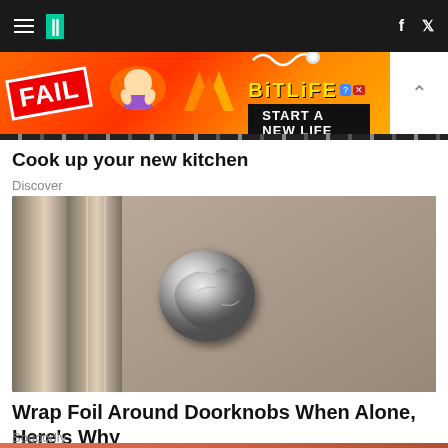HuffPost navigation bar with hamburger menu, logo, and social icons (f, twitter)
[Figure (screenshot): BitLife advertisement banner: FAIL graphic with animated character and flames, BitLife logo, START A NEW LIFE tagline]
Cook up your new kitchen
Discover
[Figure (photo): Close-up photo of a door knob wrapped in aluminum foil on a wooden door]
Wrap Foil Around Doorknobs When Alone, Here's Why
Sogoodly